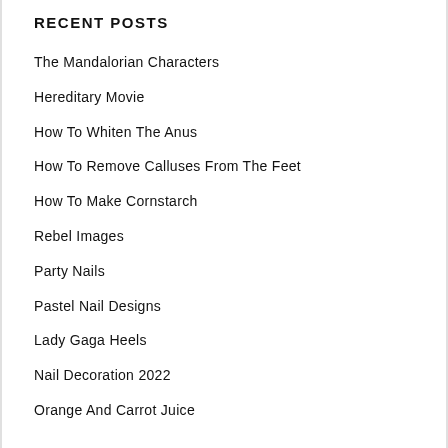RECENT POSTS
The Mandalorian Characters
Hereditary Movie
How To Whiten The Anus
How To Remove Calluses From The Feet
How To Make Cornstarch
Rebel Images
Party Nails
Pastel Nail Designs
Lady Gaga Heels
Nail Decoration 2022
Orange And Carrot Juice